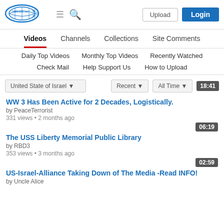[Figure (logo): 1688news.net logo - oval blue fish/globe icon with site name]
Upload | Login
Videos | Channels | Collections | Site Comments
Daily Top Videos | Monthly Top Videos | Recently Watched
Check Mail | Help Support Us | How to Upload
United State of Israel ▾   Recent ▾   All Time ▾   18:41
WW 3 Has Been Active for 2 Decades, Logistically.
by PeaceTerrorist
331 views • 2 months ago
06:19
The USS Liberty Memorial Public Library
by RBD3
353 views • 3 months ago
02:59
US-Israel-Alliance Taking Down of The Media -Read INFO!
by Uncle Alice